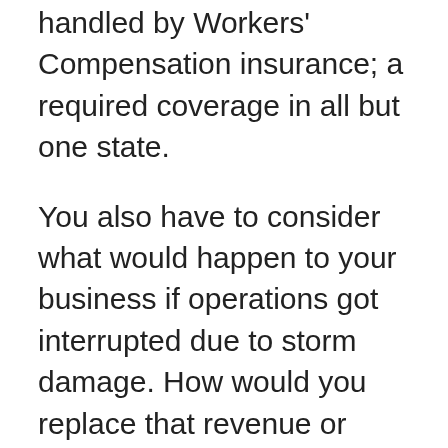handled by Workers' Compensation insurance; a required coverage in all but one state.
You also have to consider what would happen to your business if operations got interrupted due to storm damage. How would you replace that revenue or replace ruined products and equipment? Or, if your employee at a hair salon accidentally burns a client's scalp? You need professional liability in cases involving skilled service claims.
At the end of the day, sole proprietors insurance coverage may be slightly more important since the owner has a larger burden of personal liability. Just remember that even